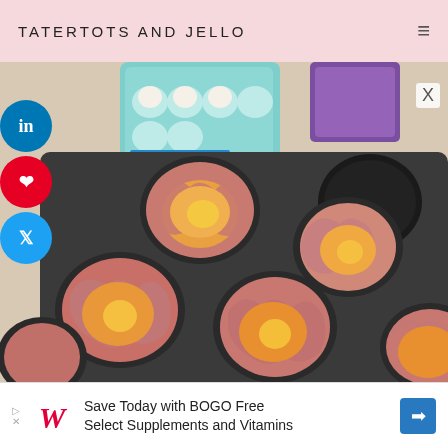TATERTOTS AND JELLO
[Figure (photo): Muffin tin with ham cups filled with raw eggs, with a teal egg carton and purple container in the background on a light wooden surface]
X
Save Today with BOGO Free Select Supplements and Vitamins